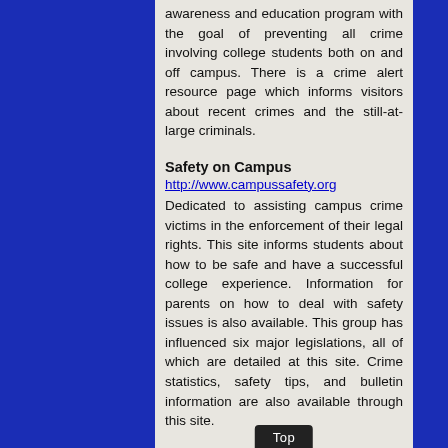awareness and education program with the goal of preventing all crime involving college students both on and off campus. There is a crime alert resource page which informs visitors about recent crimes and the still-at-large criminals.
Safety on Campus
http://www.campussafety.org
Dedicated to assisting campus crime victims in the enforcement of their legal rights. This site informs students about how to be safe and have a successful college experience. Information for parents on how to deal with safety issues is also available. This group has influenced six major legislations, all of which are detailed at this site. Crime statistics, safety tips, and bulletin information are also available through this site.
Top